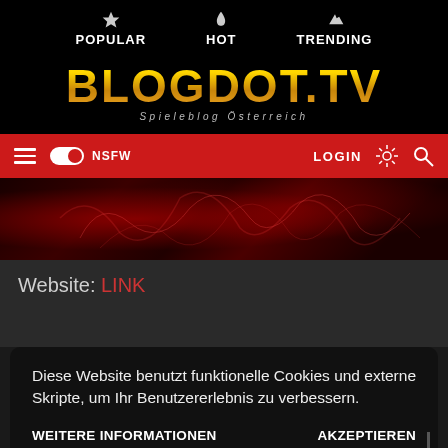POPULAR  HOT  TRENDING
BLOGDOT.TV Spieleblog Österreich
[Figure (screenshot): Navigation bar with hamburger menu, NSFW toggle, LOGIN, sun icon, and search icon on red background]
[Figure (photo): Dark hero image with red and black abstract graphics]
Website: LINK
Diese Website benutzt funktionelle Cookies und externe Skripte, um Ihr Benutzererlebnis zu verbessern.
WEITERE INFORMATIONEN    AKZEPTIEREN